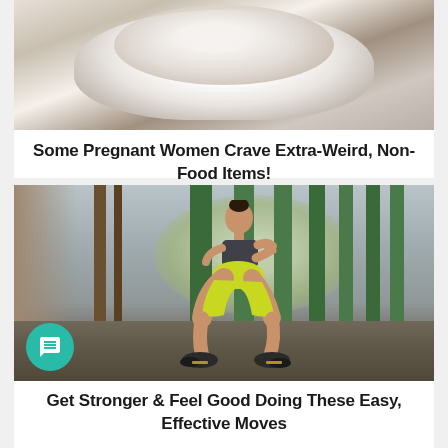[Figure (photo): A hand holding a glass bowl filled with white cream or batter, with some brown powder being sprinkled in from above]
Some Pregnant Women Crave Extra-Weird, Non-Food Items!
[Figure (photo): A fit woman in a black sports bra and yellow shorts performing a squat exercise in an industrial building with green metal pillars in the background]
Get Stronger & Feel Good Doing These Easy, Effective Moves